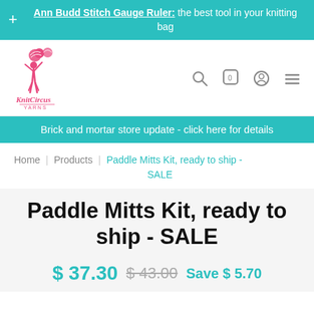Ann Budd Stitch Gauge Ruler: the best tool in your knitting bag
[Figure (logo): KnitCircus Yarns logo — pink illustration of a woman tossing yarn balls, with stylized text KnitCircus YARNS in pink]
Brick and mortar store update - click here for details
Home | Products | Paddle Mitts Kit, ready to ship - SALE
Paddle Mitts Kit, ready to ship - SALE
$ 37.30  $ 43.00  Save $ 5.70